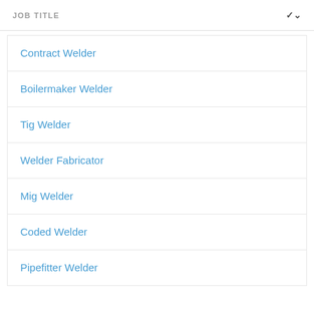JOB TITLE
Contract Welder
Boilermaker Welder
Tig Welder
Welder Fabricator
Mig Welder
Coded Welder
Pipefitter Welder